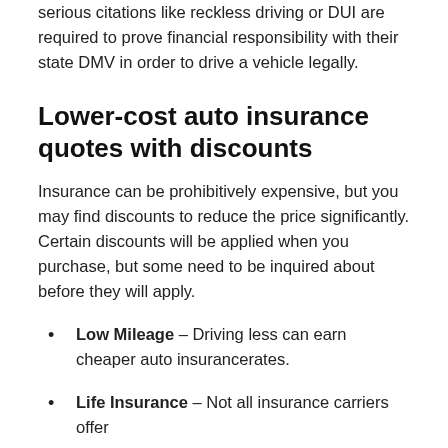serious citations like reckless driving or DUI are required to prove financial responsibility with their state DMV in order to drive a vehicle legally.
Lower-cost auto insurance quotes with discounts
Insurance can be prohibitively expensive, but you may find discounts to reduce the price significantly. Certain discounts will be applied when you purchase, but some need to be inquired about before they will apply.
Low Mileage – Driving less can earn cheaper auto insurancerates.
Life Insurance – Not all insurance carriers offer